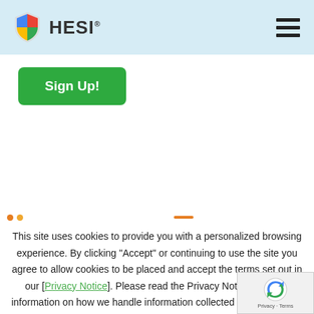HESI
Sign Up!
This site uses cookies to provide you with a personalized browsing experience. By clicking “Accept” or continuing to use the site you agree to allow cookies to be placed and accept the terms set out in our [Privacy Notice]. Please read the Privacy Notice for more information on how we handle information collected from users and how you can control the use information.
Cookie settings
ACCEPT